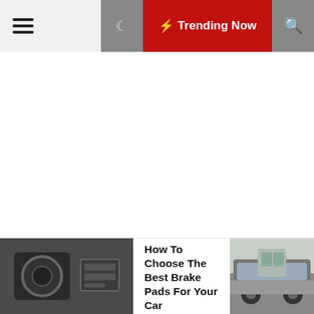☰  ☾  ⚡ Trending Now  🔍
23. Cyclist No. 2
[Figure (photo): Thumbnail image of a car brake assembly being worked on]
How To Choose The Best Brake Pads For Your Car
[Figure (photo): Thumbnail image of a car parked outside a building]